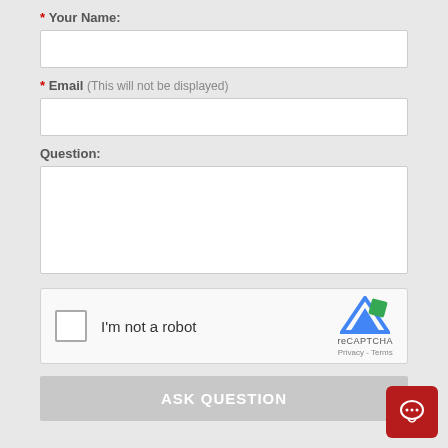* Your Name:
[Figure (screenshot): Text input field for Your Name]
* Email (This will not be displayed)
[Figure (screenshot): Text input field for Email]
Question:
[Figure (screenshot): Textarea input field for Question]
[Figure (screenshot): reCAPTCHA widget with checkbox labeled I'm not a robot]
ASK QUESTION
[Figure (screenshot): Chat button icon in bottom right corner]